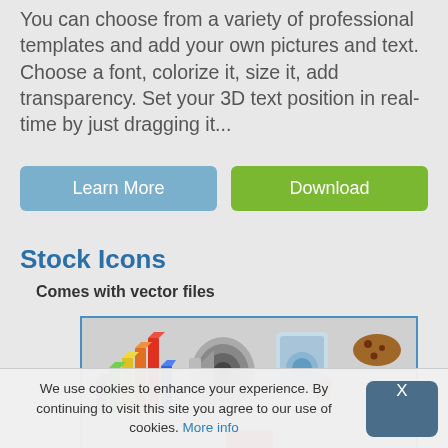You can choose from a variety of professional templates and add your own pictures and text. Choose a font, colorize it, size it, add transparency. Set your 3D text position in real-time by just dragging it...
Learn More
Download
Stock Icons
Comes with vector files
[Figure (screenshot): Screenshot of a stock icons panel showing colorful 3D bar chart icon, speaker icon, touchscreen icon, and other icons on a checkered background]
We use cookies to enhance your experience. By continuing to visit this site you agree to our use of cookies. More info
X